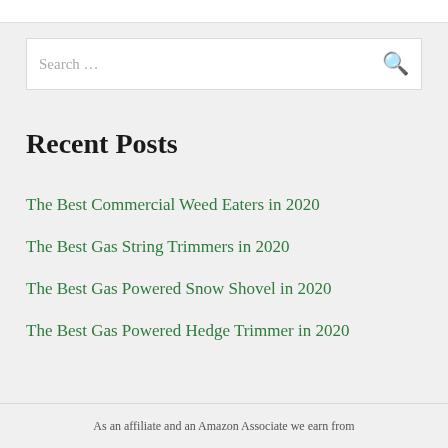[Figure (screenshot): Search bar with placeholder text 'Search ...' and a search icon on the right]
Recent Posts
The Best Commercial Weed Eaters in 2020
The Best Gas String Trimmers in 2020
The Best Gas Powered Snow Shovel in 2020
The Best Gas Powered Hedge Trimmer in 2020
As an affiliate and an Amazon Associate we earn from